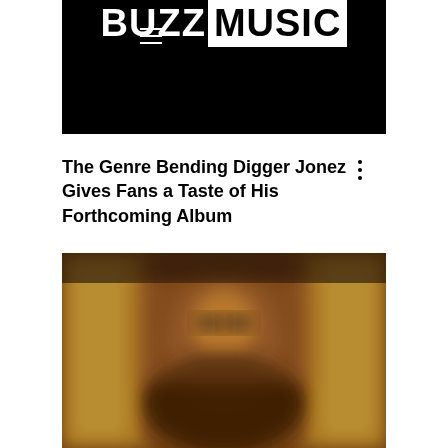BUZZMUSIC
The Genre Bending Digger Jonez Gives Fans a Taste of His Forthcoming Album
[Figure (photo): Blurred photo of an artist (Digger Jonez) with warm brown and gold tones, appearing to show a person with sunglasses in an ornate setting]